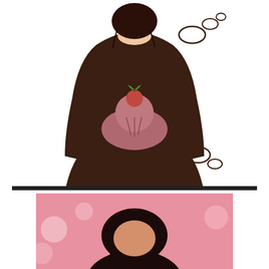[Figure (illustration): Two cartoon illustrations of figures seen from behind, both wearing dark brown/black hoodies with a sad face (frowny emoticon) printed on the back. The top figure has short dark hair and thought clouds to the upper right. The bottom figure has pink/mauve hair in a bun with a small fruit (apple or cherry) on top, also with thought cloud bubbles to the right. Both figures wear identical sad-face hoodies.]
[Figure (photo): A real photograph partially visible at the bottom of the page showing a person with dark hair against a pink bokeh background.]